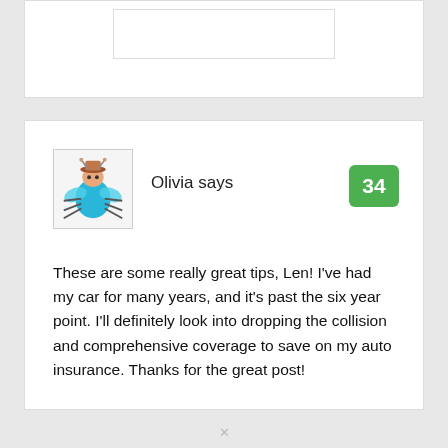[Figure (illustration): Partial view of a previous comment card at the top of the page, showing a white card with a nested white rectangle inside.]
Olivia says
34
[Figure (illustration): Avatar image showing a cartoon insect character (blue/teal body with wings) wearing a hat, drawn in a simple coloring-book style.]
These are some really great tips, Len! I've had my car for many years, and it's past the six year point. I'll definitely look into dropping the collision and comprehensive coverage to save on my auto insurance. Thanks for the great post!